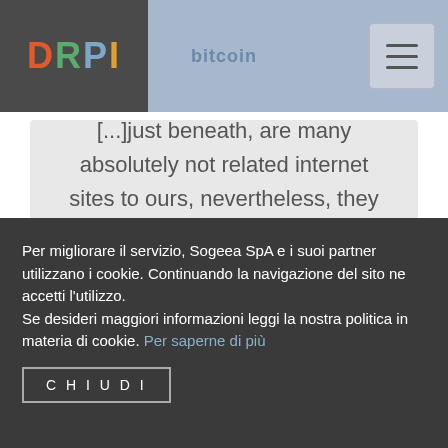DRPI | bitcoin
[...]just beneath, are many absolutely not related internet sites to ours, nevertheless, they may be surely worth going over[...]
Per migliorare il servizio, Sogeea SpA e i suoi partner utilizzano i cookie. Continuando la navigazione del sito ne accetti l'utilizzo.
Se desideri maggiori informazioni leggi la nostra politica in materia di cookie. Per saperne di più
CHIUDI